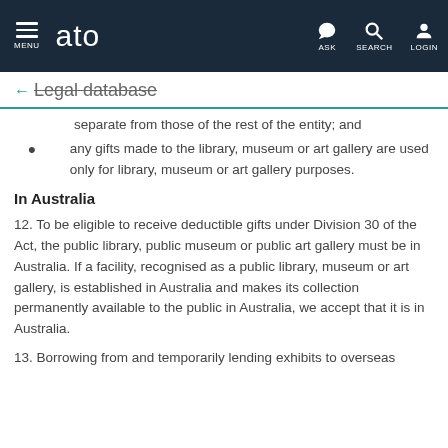MENU | ato | ASK | SEARCH | LOGIN
← Legal database
separate from those of the rest of the entity; and
any gifts made to the library, museum or art gallery are used only for library, museum or art gallery purposes.
In Australia
12. To be eligible to receive deductible gifts under Division 30 of the Act, the public library, public museum or public art gallery must be in Australia. If a facility, recognised as a public library, museum or art gallery, is established in Australia and makes its collection permanently available to the public in Australia, we accept that it is in Australia.
13. Borrowing from and temporarily lending exhibits to overseas